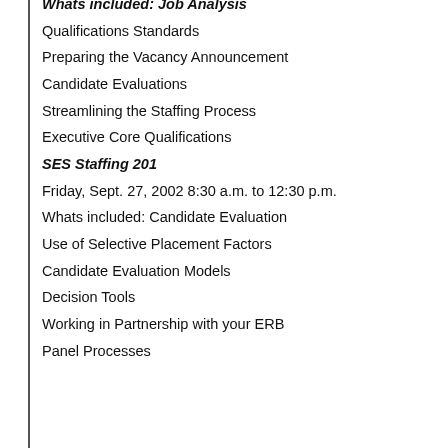Whats included: Job Analysis
Qualifications Standards
Preparing the Vacancy Announcement
Candidate Evaluations
Streamlining the Staffing Process
Executive Core Qualifications
SES Staffing 201
Friday, Sept. 27, 2002 8:30 a.m. to 12:30 p.m.
Whats included: Candidate Evaluation
Use of Selective Placement Factors
Candidate Evaluation Models
Decision Tools
Working in Partnership with your ERB
Panel Processes